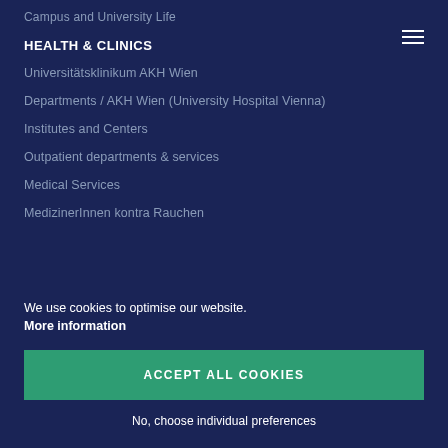Campus and University Life
HEALTH & CLINICS
Universitätsklinikum AKH Wien
Departments / AKH Wien (University Hospital Vienna)
Institutes and Centers
Outpatient departments & services
Medical Services
MedizinerInnen kontra Rauchen
We use cookies to optimise our website.
More information
ACCEPT ALL COOKIES
No, choose individual preferences